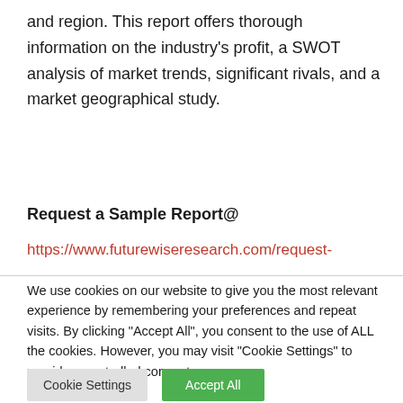and region. This report offers thorough information on the industry's profit, a SWOT analysis of market trends, significant rivals, and a market geographical study.
Request a Sample Report@
https://www.futurewiseresearch.com/request-
We use cookies on our website to give you the most relevant experience by remembering your preferences and repeat visits. By clicking "Accept All", you consent to the use of ALL the cookies. However, you may visit "Cookie Settings" to provide a controlled consent.